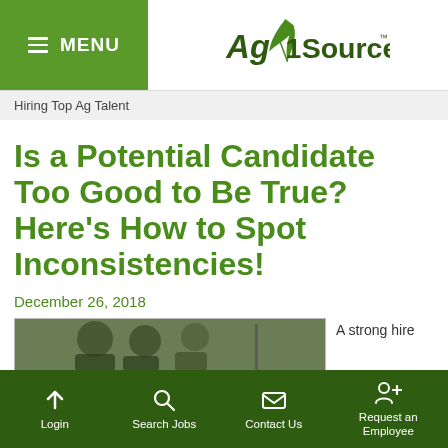≡ MENU | Ag1Source
Hiring Top Ag Talent
Is a Potential Candidate Too Good to Be True? Here's How to Spot Inconsistencies!
December 26, 2018
[Figure (photo): Photo of people at a table, partially visible, with text 'A strong hire' to the right]
Login | Search Jobs | Contact Us | Request an Employee